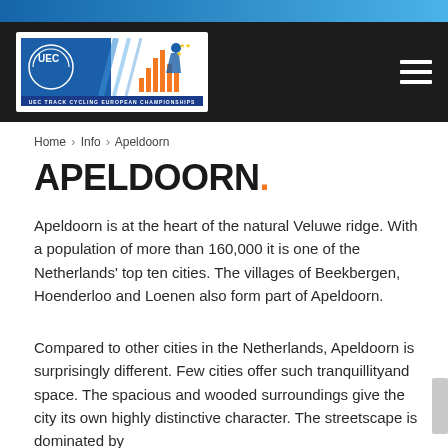[Figure (logo): UEC Track Cycling European Championships logo with cyclist silhouette and EU stars]
Home › Info › Apeldoorn
APELDOORN.
Apeldoorn is at the heart of the natural Veluwe ridge. With a population of more than 160,000 it is one of the Netherlands' top ten cities. The villages of Beekbergen, Hoenderloo and Loenen also form part of Apeldoorn.
Compared to other cities in the Netherlands, Apeldoorn is surprisingly different. Few cities offer such tranquillityand space. The spacious and wooded surroundings give the city its own highly distinctive character. The streetscape is dominated by